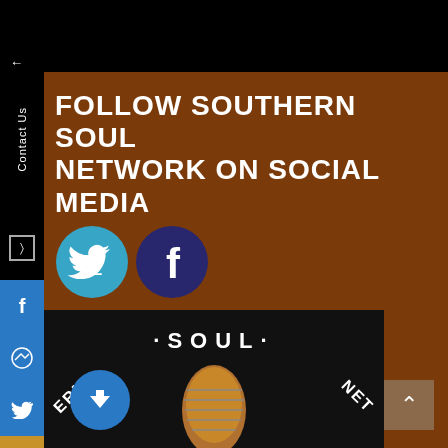FOLLOW SOUTHERN SOUL NETWORK ON SOCIAL MEDIA
[Figure (illustration): Twitter bird icon (blue) and Facebook logo icon (blue/dark) for social media links]
[Figure (photo): Southern Soul Network logo image showing microphone with text 'SOUTHERN.SOUL.NET' on dark background]